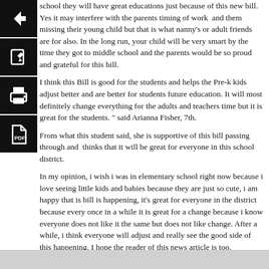school they will have great educations just because of this new bill. Yes it may interfere with the parents timing of work  and them missing their young child but that is what nanny's or adult friends are for also. In the long run, your child will be very smart by the time they got to middle school and the parents would be so proud and grateful for this bill.
I think this Bill is good for the students and helps the Pre-k kids adjust better and are better for students future education. It will most definitely change everything for the adults and teachers time but it is great for the students. " said Arianna Fisher, 7th.
From what this student said, she is supportive of this bill passing through and  thinks that it will be great for everyone in this school district.
In my opinion, i wish i was in elementary school right now because i love seeing little kids and babies because they are just so cute, i am happy that is bill is happening, it's great for everyone in the district because every once in a while it is great for a change because i know everyone does not like it the same but does not like change. After a while, i think everyone will adjust and really see the good side of this happening. I hope the reader of this news article is too.